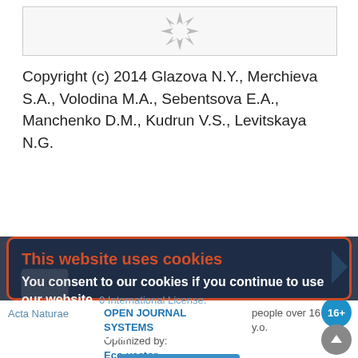[Figure (screenshot): Top portion of a journal article page with a partially visible logo/icon at the top center inside a bordered box]
Copyright (c) 2014 Glazova N.Y., Merchieva S.A., Volodina M.A., Sebentsova E.A., Manchenko D.M., Kudrun V.S., Levitskaya N.G.
[Figure (screenshot): Cookie consent modal dialog with dark navy background and orange border. Title in orange: 'This website uses cookies'. Body text: 'You consent to our cookies if you continue to use our website.' with greyed out license text visible behind. Section header 'About Cookies' and a blue OK button.]
Acta Naturae   OPEN JOURNAL SYSTEMS   Optimized by: Eco-vector   people over 16 y.o.